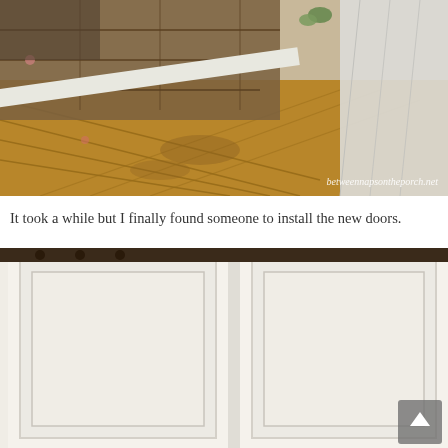[Figure (photo): Interior photo showing damaged wooden floor near a door threshold, with old wooden planks and worn flooring visible. A white curtain is visible on the right side. Watermark reads 'betweennapsontheporch.net'.]
It took a while but I finally found someone to install the new doors.
[Figure (photo): Photo of two white panel closet doors installed side by side with a small gap between them, showing clean white raised-panel style doors. A scroll-to-top button is visible in the bottom right corner.]